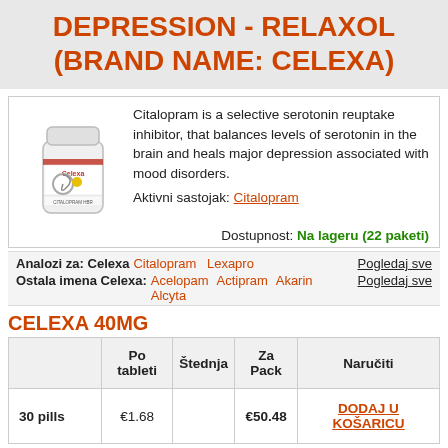DEPRESSION - RELAXOL (BRAND NAME: CELEXA)
[Figure (photo): White pill bottle labeled Celexa with red/yellow label]
Citalopram is a selective serotonin reuptake inhibitor, that balances levels of serotonin in the brain and heals major depression associated with mood disorders.
Aktivni sastojak: Citalopram
Dostupnost: Na lageru (22 paketi)
Analozi za: Celexa   Citalopram  Lexapro   Pogledaj sve
Ostala imena Celexa:  Acelopam  Actipram  Akarin  Alcyta  Pogledaj sve
CELEXA 40MG
|  | Po tableti | Štednja | Za Pack | Naručiti |
| --- | --- | --- | --- | --- |
| 30 pills | €1.68 |  | €50.48 | DODAJ U KOŠARICU |